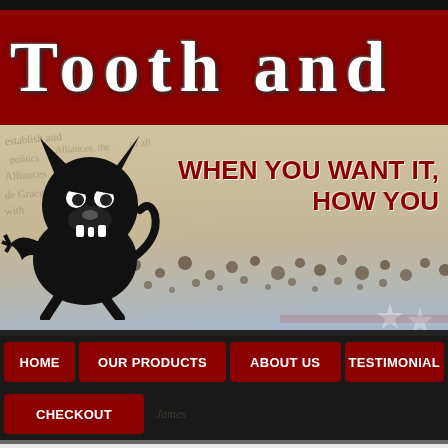Tooth and
[Figure (illustration): Cartoon mascot - angry/snarling black cartoon animal character (wolf/dog) on parchment-style background with cursive text overlay, bullet holes scatter, and American flag elements. Text overlay reads: WHEN YOU WANT IT, HOW YOU]
HOME
OUR PRODUCTS
ABOUT US
TESTIMONIAL
CHECKOUT
Rock Island VR80 MAX
[Figure (photo): Partial photo of a Rock Island VR80 MAX semi-automatic shotgun/rifle against a stone wall background]